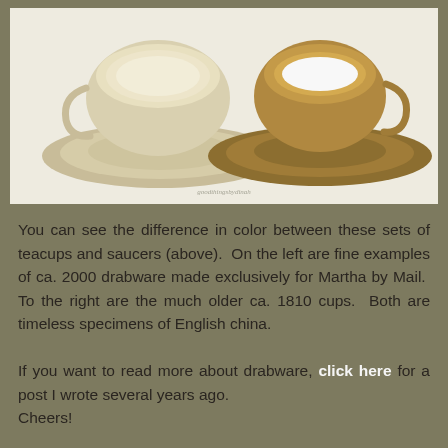[Figure (photo): Overhead photo of two teacup and saucer sets on a white background. On the left is a beige/cream colored teacup and saucer (ca. 2000 drabware made for Martha by Mail). On the right is a gold/brown rimmed white teacup and saucer (ca. 1810, older English china). A small watermark or text is visible near the bottom center of the image.]
You can see the difference in color between these sets of teacups and saucers (above).  On the left are fine examples of ca. 2000 drabware made exclusively for Martha by Mail.  To the right are the much older ca. 1810 cups.  Both are timeless specimens of English china.
If you want to read more about drabware, click here for a post I wrote several years ago.
Cheers!